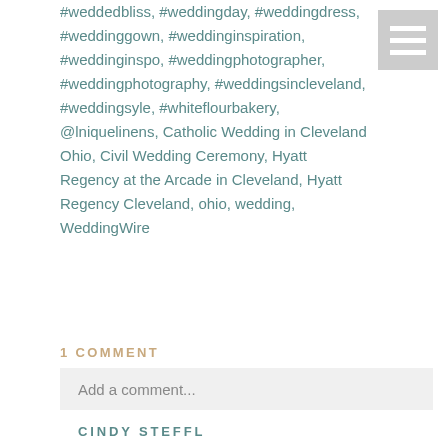#weddedbliss, #weddingday, #weddingdress, #weddinggown, #weddinginspiration, #weddinginspo, #weddingphotographer, #weddingphotography, #weddingsincleveland, #weddingsyle, #whiteflourbakery, @lniquelinens, Catholic Wedding in Cleveland Ohio, Civil Wedding Ceremony, Hyatt Regency at the Arcade in Cleveland, Hyatt Regency Cleveland, ohio, wedding, WeddingWire
1 COMMENT
Add a comment...
CINDY STEFFL
This was truly the BEST wedding I've ever attended!  From the venue to the food and photography, everything was a class act. Both families were amazing and my sweet,